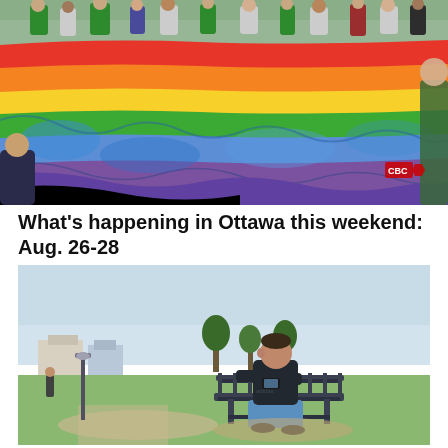[Figure (photo): A large rainbow Pride flag being carried by a crowd of people along a street during a Pride parade. The flag with red, orange, yellow, green, blue, and purple stripes dominates the foreground. People in summer clothes walk behind holding the edges of the flag. A small CBC watermark is visible in the lower right area of the photo.]
What's happening in Ottawa this weekend: Aug. 26-28
[Figure (photo): A young man in a dark t-shirt and light blue shorts sits on a park bench looking at his phone. The background shows a green park with trees, residential buildings, a lamp post on the left, and a clear sky with a slight haze. A person is walking in the far background on the left.]